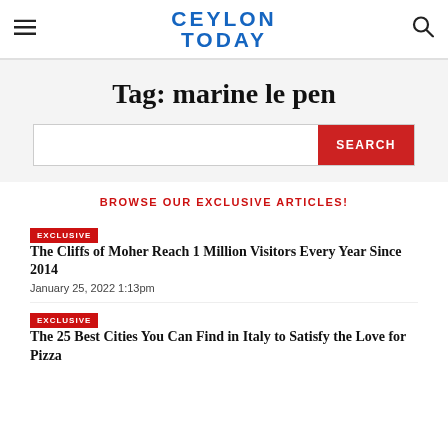CEYLON TODAY
Tag: marine le pen
BROWSE OUR EXCLUSIVE ARTICLES!
EXCLUSIVE The Cliffs of Moher Reach 1 Million Visitors Every Year Since 2014 — January 25, 2022 1:13pm
EXCLUSIVE The 25 Best Cities You Can Find in Italy to Satisfy the Love for Pizza